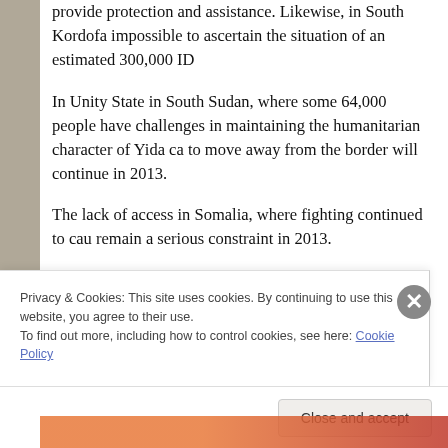provide protection and assistance. Likewise, in South Kordofa... impossible to ascertain the situation of an estimated 300,000 ID...
In Unity State in South Sudan, where some 64,000 people have... challenges in maintaining the humanitarian character of Yida ca... to move away from the border will continue in 2013.
The lack of access in Somalia, where fighting continued to cau... remain a serious constraint in 2013.
In Uganda and Ethiopia, the shortage of funding for assistance... and the rise in the number of new arrivals have undermined loc... threatened the protection environment. As in previous years, re... Uganda and Kenya may not receive meaningful assistance due...
Privacy & Cookies: This site uses cookies. By continuing to use this website, you agree to their use.
To find out more, including how to control cookies, see here: Cookie Policy
Close and accept